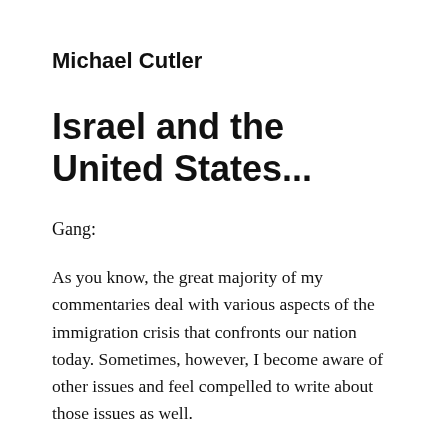Michael Cutler
Israel and the United States...
Gang:
As you know, the great majority of my commentaries deal with various aspects of the immigration crisis that confronts our nation today. Sometimes, however, I become aware of other issues and feel compelled to write about those issues as well.